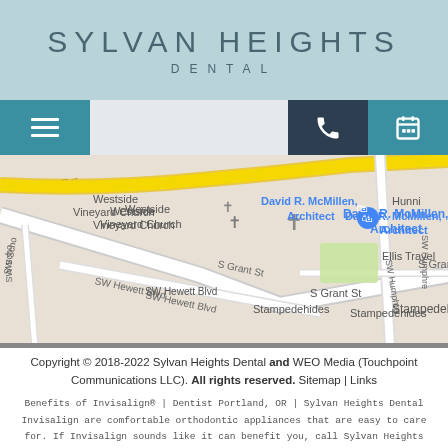SYLVAN HEIGHTS DENTAL
[Figure (screenshot): Navigation bar with hamburger menu on left, phone and calendar icons on right]
[Figure (map): Google Maps screenshot showing area near Westside Vineyard Church, David R. McMillen Architect, SW Hewett Blvd, S Grant St, Stampedehides, Ellis Travel, SW Humphrey area in Portland OR]
Copyright © 2018-2022 Sylvan Heights Dental and WEO Media (Touchpoint Communications LLC). All rights reserved.  Sitemap | Links
Benefits of Invisalign® | Dentist Portland, OR | Sylvan Heights Dental
Invisalign are comfortable orthodontic appliances that are easy to care for. If Invisalign sounds like it can benefit you, call Sylvan Heights Dental today!
Sylvan Heights Dental, 5440 SW Westgate Dr, Suite 165 Portland, OR 97221 | (503) 388-5882 | sylvanheightsdental.com | 8/17/2022 | Related Phrases: dentist Portland OR |